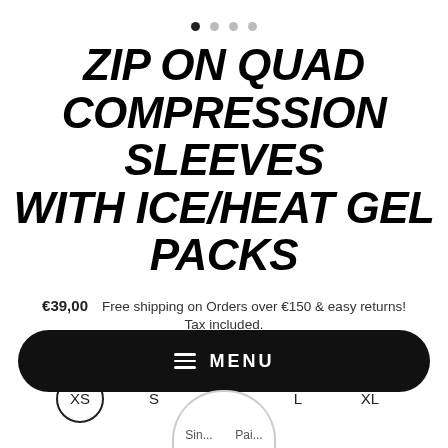[Figure (other): Pagination dots: one filled black dot and three gray dots indicating a carousel position]
ZIP ON QUAD COMPRESSION SLEEVES WITH ICE/HEAT GEL PACKS
€39,00   Free shipping on Orders over €150 & easy returns!
Tax included.
Size
XS  S  M  L  XL
[Figure (other): Black rounded rectangle menu bar with hamburger icon and MENU text in white]